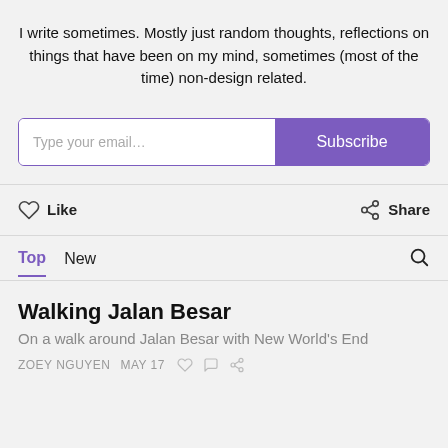I write sometimes. Mostly just random thoughts, reflections on things that have been on my mind, sometimes (most of the time) non-design related.
[Figure (screenshot): Email subscription form with text input 'Type your email...' and a purple 'Subscribe' button]
[Figure (infographic): Like and Share buttons row]
Top  New
Walking Jalan Besar
On a walk around Jalan Besar with New World's End
ZOEY NGUYEN  MAY 17